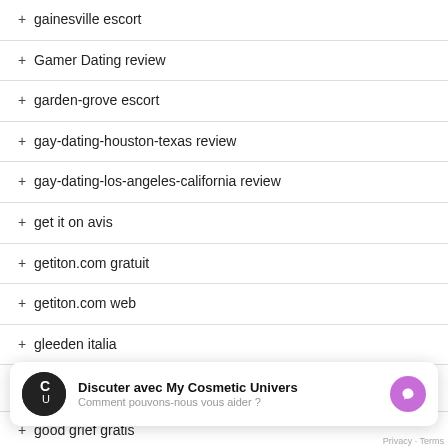+ gainesville escort
+ Gamer Dating review
+ garden-grove escort
+ gay-dating-houston-texas review
+ gay-dating-los-angeles-california review
+ get it on avis
+ getiton.com gratuit
+ getiton.com web
+ gleeden italia
[Figure (other): Chat widget for My Cosmetic Univers with messenger icon. Title: Discuter avec My Cosmetic Univers. Subtitle: Comment pouvons-nous vous aider ?]
+ good grief gratis